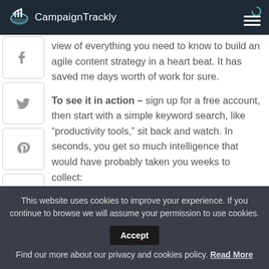CampaignTrackly
view of everything you need to know to build an agile content strategy in a heart beat. It has saved me days worth of work for sure.
To see it in action – sign up for a free account, then start with a simple keyword search, like “productivity tools,” sit back and watch. In seconds, you get so much intelligence that would have probably taken you weeks to collect:
This website uses cookies to improve your experience. If you continue to browse we will assume your permission to use cookies. Accept Find our more about our privacy and cookies policy. Read More